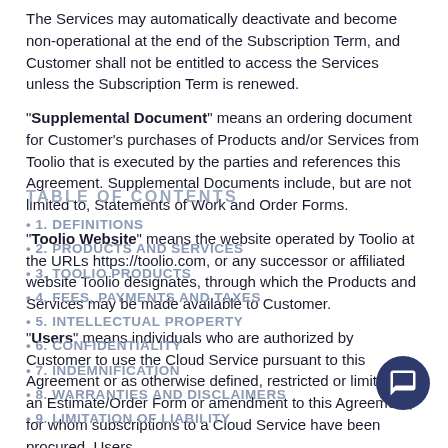The Services may automatically deactivate and become non-operational at the end of the Subscription Term, and Customer shall not be entitled to access the Services unless the Subscription Term is renewed.
"Supplemental Document" means an ordering document for Customer's purchases of Products and/or Services from Toolio that is executed by the parties and references this Agreement. Supplemental Documents include, but are not limited to, Statements of Work and Order Forms.
"Toolio Website" means the website operated by Toolio at the URLs https://toolio.com, or any successor or affiliated website Toolio designates, through which the Products and Services may be made available to Customer.
"Users" means individuals who are authorized by Customer to use the Cloud Service pursuant to this Agreement or as otherwise defined, restricted or limited in an Estimate/Order Form or amendment to this Agreement, for whom subscriptions to a Cloud Service have been procured. Users
TABLE OF CONTENTS
1. Definitions
2. Products and Services
3. Toolio Products
4. Fees, Payments and Taxes
5. Intellectual Property
6. Confidentiality
7. Indemnification
8. Warranties and Disclaimers
9. Limitation of Liability